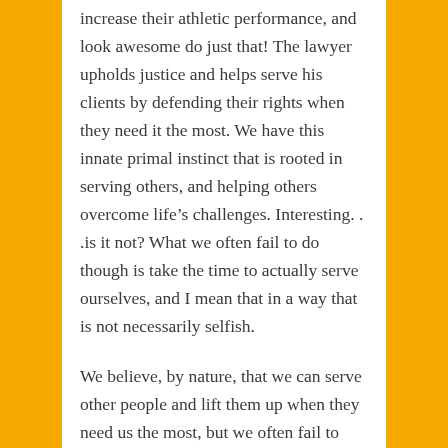increase their athletic performance, and look awesome do just that! The lawyer upholds justice and helps serve his clients by defending their rights when they need it the most. We have this innate primal instinct that is rooted in serving others, and helping others overcome life's challenges. Interesting. . .is it not? What we often fail to do though is take the time to actually serve ourselves, and I mean that in a way that is not necessarily selfish.
We believe, by nature, that we can serve other people and lift them up when they need us the most, but we often fail to take the time to lift ourselves up, serve our own